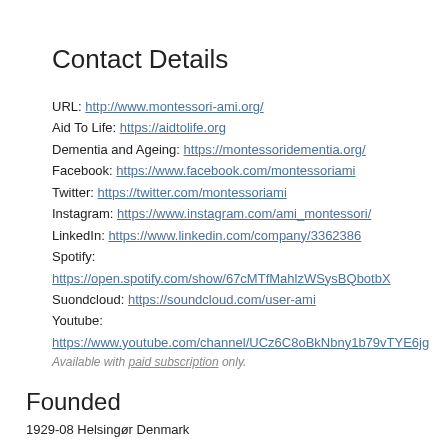Contact Details
URL: http://www.montessori-ami.org/
Aid To Life: https://aidtolife.org
Dementia and Ageing: https://montessoridementia.org/
Facebook: https://www.facebook.com/montessoriami
Twitter: https://twitter.com/montessoriami
Instagram: https://www.instagram.com/ami_montessori/
LinkedIn: https://www.linkedin.com/company/3362386
Spotify:
https://open.spotify.com/show/67cMTfMahlzWSysBQbotbX
Suondcloud: https://soundcloud.com/user-ami
Youtube:
https://www.youtube.com/channel/UCz6C8oBkNbny1b79vTYE6jg
Available with paid subscription only.
Founded
1929-08 Helsingør Denmark